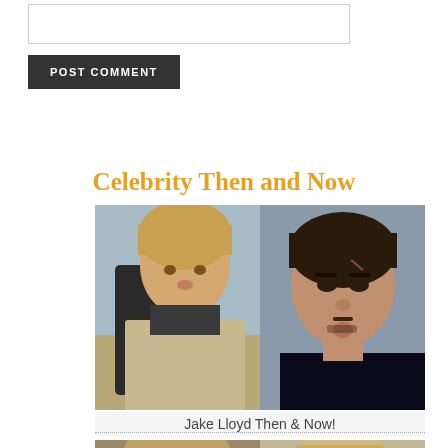[Figure (other): Comment input text box (empty)]
POST COMMENT
Celebrity Then and Now
[Figure (photo): Side-by-side photos of Jake Lloyd as a child actor in Star Wars (then) and as an adult in a mugshot (now)]
Jake Lloyd Then & Now!
[Figure (photo): Another celebrity then and now comparison photos, partially visible at bottom of page]